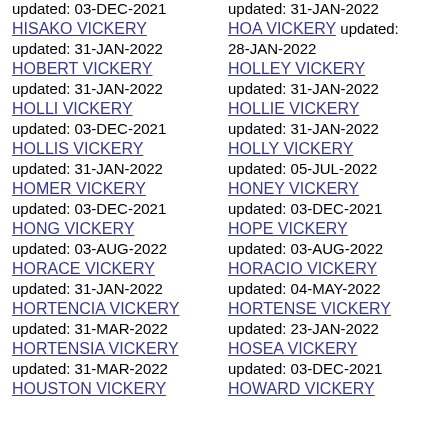updated: 03-DEC-2021 | updated: 31-JAN-2022
HISAKO VICKERY updated: 31-JAN-2022
HOA VICKERY updated: 28-JAN-2022
HOBERT VICKERY updated: 31-JAN-2022
HOLLEY VICKERY updated: 31-JAN-2022
HOLLI VICKERY updated: 03-DEC-2021
HOLLIE VICKERY updated: 31-JAN-2022
HOLLIS VICKERY updated: 31-JAN-2022
HOLLY VICKERY updated: 05-JUL-2022
HOMER VICKERY updated: 03-DEC-2021
HONEY VICKERY updated: 03-DEC-2021
HONG VICKERY updated: 03-AUG-2022
HOPE VICKERY updated: 03-AUG-2022
HORACE VICKERY updated: 31-JAN-2022
HORACIO VICKERY updated: 04-MAY-2022
HORTENCIA VICKERY updated: 31-MAR-2022
HORTENSE VICKERY updated: 23-JAN-2022
HORTENSIA VICKERY updated: 31-MAR-2022
HOSEA VICKERY updated: 03-DEC-2021
HOUSTON VICKERY
HOWARD VICKERY